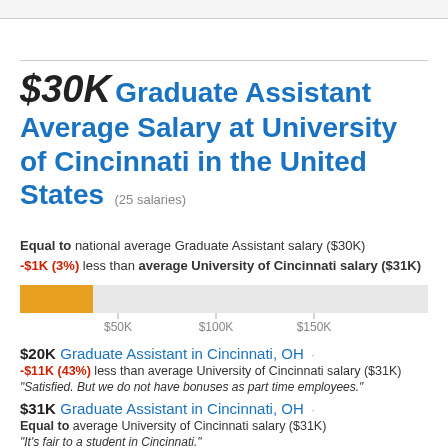$30K Graduate Assistant Average Salary at University of Cincinnati in the United States (25 salaries)
Equal to national average Graduate Assistant salary ($30K)
-$1K (3%) less than average University of Cincinnati salary ($31K)
[Figure (bar-chart): Salary range]
$20K Graduate Assistant in Cincinnati, OH · -$11K (43%) less than average University of Cincinnati salary ($31K)
"Satisfied. But we do not have bonuses as part time employees."
$31K Graduate Assistant in Cincinnati, OH · Equal to average University of Cincinnati salary ($31K)
"It's fair to a student in Cincinnati."